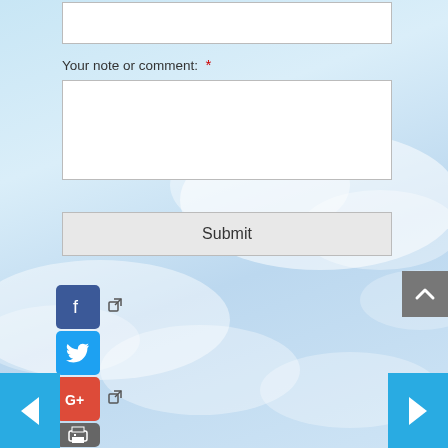Your note or comment:  *
Submit
[Figure (screenshot): Form with text input, comment textarea, submit button, social share icons (Facebook, Twitter, Google+, Print), navigation arrows and scroll-to-top button on a sky/clouds background]